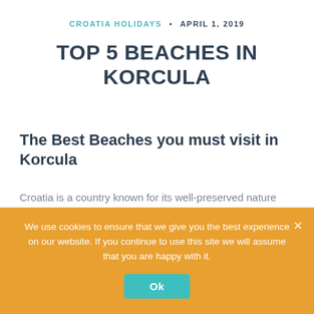CROATIA HOLIDAYS • APRIL 1, 2019
TOP 5 BEACHES IN KORCULA
The Best Beaches you must visit in Korcula
Croatia is a country known for its well-preserved nature and beautiful weather. The combination of these two things is exactly what the best beaches in the world are made of. Looking for such a place? Head to Korcula! Here are five of the most amazing beaches that you can't miss when visiting Korcula Island:
We use cookies to ensure that we give you the best experience on our website. If you continue to use this site we will assume that you are happy with it.